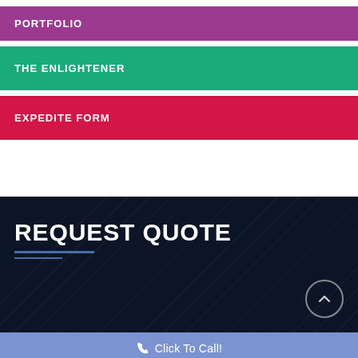PORTFOLIO
THE ENLIGHTENER
EXPEDITE FORM
REQUEST QUOTE
Click To Call!